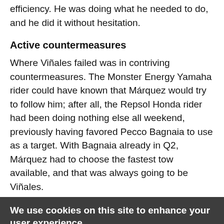efficiency. He was doing what he needed to do, and he did it without hesitation.
Active countermeasures
Where Viñales failed was in contriving countermeasures. The Monster Energy Yamaha rider could have known that Márquez would try to follow him; after all, the Repsol Honda rider had been doing nothing else all weekend, previously having favored Pecco Bagnaia to use as a target. With Bagnaia already in Q2, Márquez had to choose the fastest tow available, and that was always going to be Viñales.
We use cookies on this site to enhance your user experience
By clicking any link on this page you are giving your consent for us to set cookies. No, give me more info
OK, I agree